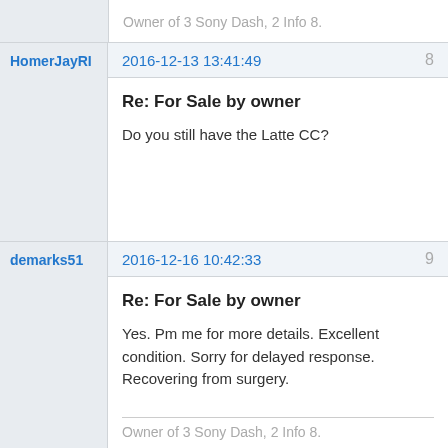Owner of 3 Sony Dash, 2 Info 8.
HomerJayRI
2016-12-13 13:41:49
8
Re: For Sale by owner
Do you still have the Latte CC?
demarks51
2016-12-16 10:42:33
9
Re: For Sale by owner
Yes. Pm me for more details. Excellent condition. Sorry for delayed response. Recovering from surgery.
Owner of 3 Sony Dash, 2 Info 8.